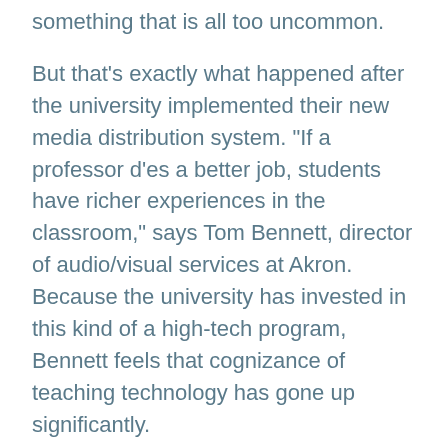something that is all too uncommon.
But that's exactly what happened after the university implemented their new media distribution system. "If a professor d'es a better job, students have richer experiences in the classroom," says Tom Bennett, director of audio/visual services at Akron. Because the university has invested in this kind of a high-tech program, Bennett feels that cognizance of teaching technology has gone up significantly.
Instructors are now becoming interested in new teaching technology. Setting up this new system gave them a perfect opportunity to look at what kinds of tools are available for teaching, which has caused them to rethink their methodology.